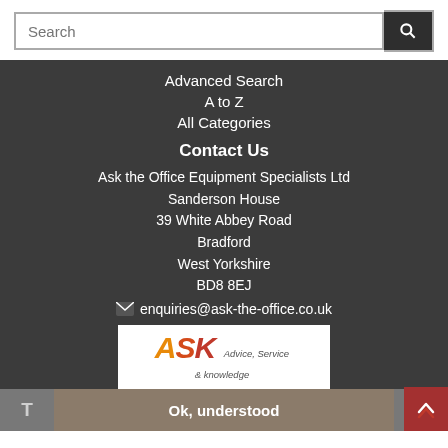Search
Advanced Search
A to Z
All Categories
Contact Us
Ask the Office Equipment Specialists Ltd
Sanderson House
39 White Abbey Road
Bradford
West Yorkshire
BD8 8EJ
enquiries@ask-the-office.co.uk
[Figure (logo): ASK logo with tagline: Advice, Service & Knowledge]
Ok, understood